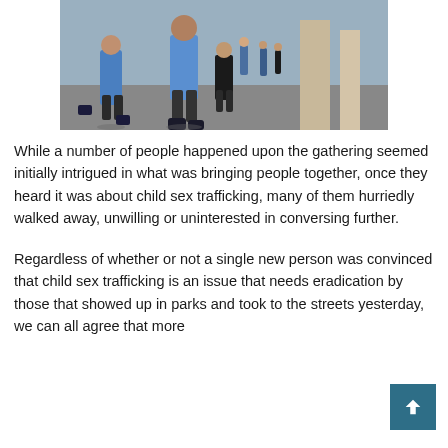[Figure (photo): Street scene showing people walking on a sidewalk or plaza area, viewed from behind. People wearing blue shirts visible in the foreground.]
While a number of people happened upon the gathering seemed initially intrigued in what was bringing people together, once they heard it was about child sex trafficking, many of them hurriedly walked away, unwilling or uninterested in conversing further.
Regardless of whether or not a single new person was convinced that child sex trafficking is an issue that needs eradication by those that showed up in parks and took to the streets yesterday, we can all agree that more